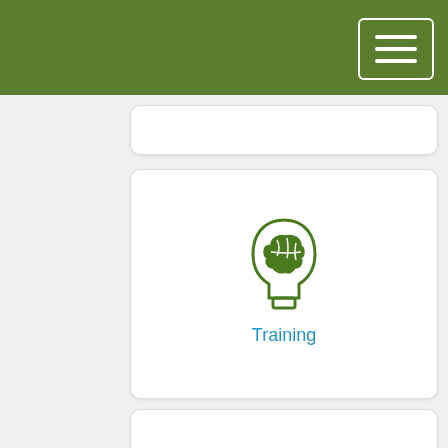[Figure (illustration): Training icon: green silhouette of a head with brain visible]
Training
[Figure (illustration): Telephones icon: green classic telephone handset icon]
Telephones
[Figure (illustration): Web Publishing icon: green globe/grid icon]
Web Publishing